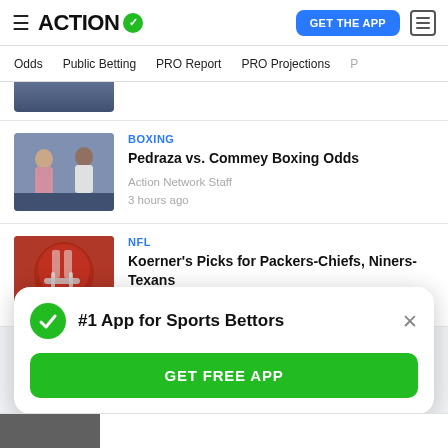ACTION ✓  GET THE APP
Odds  Public Betting  PRO Report  PRO Projections
[Figure (photo): Partially visible photo at top, cropped]
[Figure (photo): Photo of two boxers facing off for Pedraza vs Commey]
BOXING
Pedraza vs. Commey Boxing Odds
Action Network Staff
3 hours ago
[Figure (photo): Photo of NFL player in 49ers helmet]
NFL
Koerner's Picks for Packers-Chiefs, Niners-Texans
#1 App for Sports Bettors
GET FREE APP